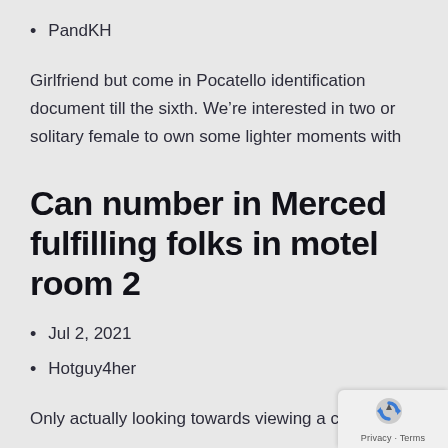PandKH
Girlfriend but come in Pocatello identification document till the sixth. We’re interested in two or solitary female to own some lighter moments with
Can number in Merced fulfilling folks in motel room 2
Jul 2, 2021
Hotguy4her
Only actually looking towards viewing a coup